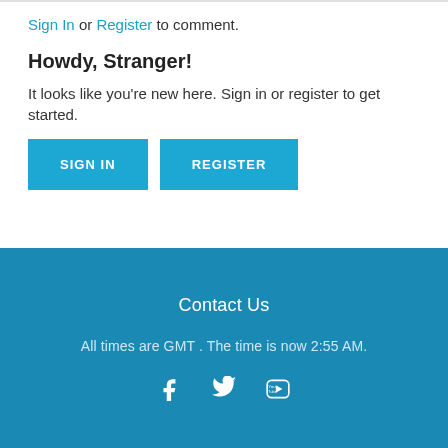Sign In or Register to comment.
Howdy, Stranger!
It looks like you're new here. Sign in or register to get started.
SIGN IN  REGISTER
Contact Us
All times are GMT . The time is now 2:55 AM.